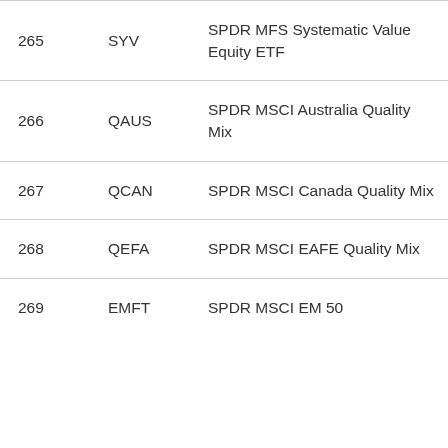|  |  |  |  |
| --- | --- | --- | --- |
| 265 | SYV | SPDR MFS Systematic Value Equity ETF | 13 |
| 266 | QAUS | SPDR MSCI Australia Quality Mix | 8 |
| 267 | QCAN | SPDR MSCI Canada Quality Mix | 8 |
| 268 | QEFA | SPDR MSCI EAFE Quality Mix | 8 |
| 269 | EMFT | SPDR MSCI EM 50 | 35 |